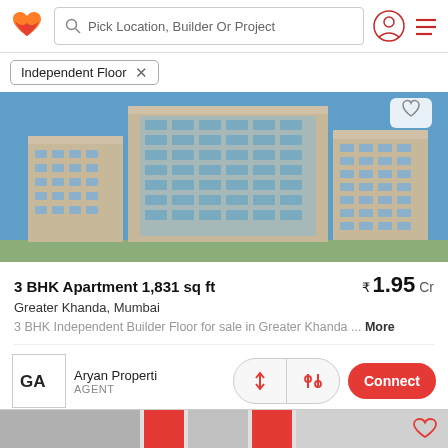Pick Location, Builder Or Project
Independent Floor
[Figure (photo): Exterior rendering of a modern high-rise apartment building with beige and glass facade against a blue sky]
3 BHK Apartment 1,831 sq ft  ₹1.95 Cr
Greater Khanda, Mumbai
3 BHK Independent Builder Floor for sale in Greater Khanda ... More
Aryan Properti  AGENT  Connect